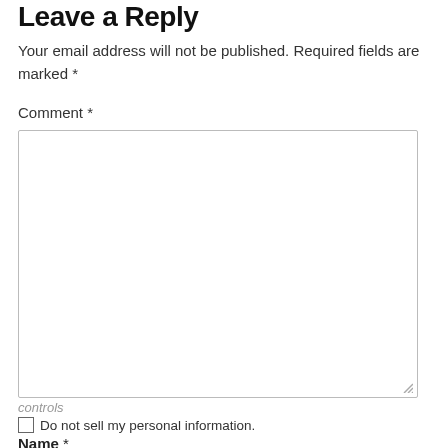Leave a Reply
Your email address will not be published. Required fields are marked *
Comment *
[Figure (other): Large empty textarea for comment input with resize handle at bottom-right]
Do not sell my personal information.
Name *
[Figure (other): Partially visible row with a gray button and a green button, and an empty name text input box below]